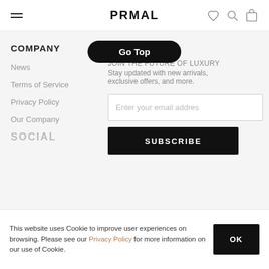PRMAL
[Figure (other): Go Top button — black rounded pill button]
COMPANY
News
Terms of Service
Privacy Policy
Our Company
NEWSLETTER
JOIN THE FUTURE OF LUXURY
Stay updated with new arrivals, exclusive offers, and more.
[Figure (other): Email input field with placeholder 'Enter your email addres']
[Figure (other): SUBSCRIBE button — black rectangle]
SOCIAL
This website uses Cookie to improve user experiences on browsing. Please see our Privacy Policy for more information on our use of Cookie.
[Figure (other): OK button — black rectangle]